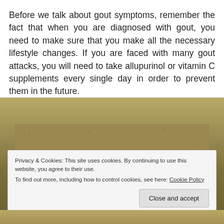Before we talk about gout symptoms, remember the fact that when you are diagnosed with gout, you need to make sure that you make all the necessary lifestyle changes. If you are faced with many gout attacks, you will need to take allupurinol or vitamin C supplements every single day in order to prevent them in the future.
[Figure (photo): Photo of two human feet with toes visible, on a sandy/carpeted surface, showing potential gout-affected toes]
Privacy & Cookies: This site uses cookies. By continuing to use this website, you agree to their use.
To find out more, including how to control cookies, see here: Cookie Policy
Close and accept